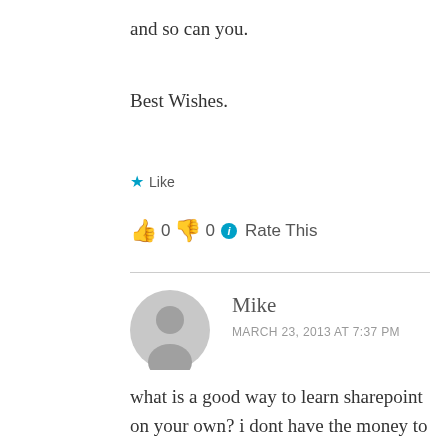and so can you.
Best Wishes.
★ Like
👍 0 👎 0 ℹ Rate This
Mike
MARCH 23, 2013 AT 7:37 PM
what is a good way to learn sharepoint on your own? i dont have the money to buy sql server or sharepoint. thanks.